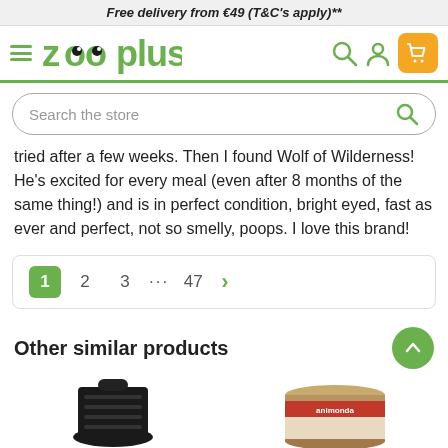Free delivery from €49 (T&C's apply)**
[Figure (logo): Zooplus logo with hamburger menu, search icon, profile icon, and shopping cart button]
Search the store
tried after a few weeks. Then I found Wolf of Wilderness! He's excited for every meal (even after 8 months of the same thing!) and is in perfect condition, bright eyed, fast as ever and perfect, not so smelly, poops. I love this brand!
1  2  3  ...  47  >
Other similar products
[Figure (photo): Product images partially visible at bottom: black dog waste bags roll product on left, animonda cat food tin on right]